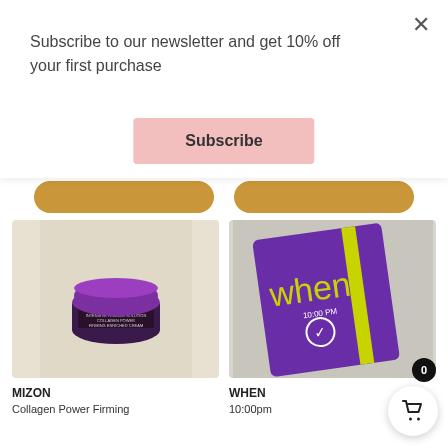Subscribe to our newsletter and get 10% off your first purchase
Subscribe
[Figure (photo): MIZON Collagen Power Firming cream jar with purple lid on beige background]
[Figure (photo): WHEN 10:00pm purple packet product on gray background]
MIZON
Collagen Power Firming
WHEN
10:00pm